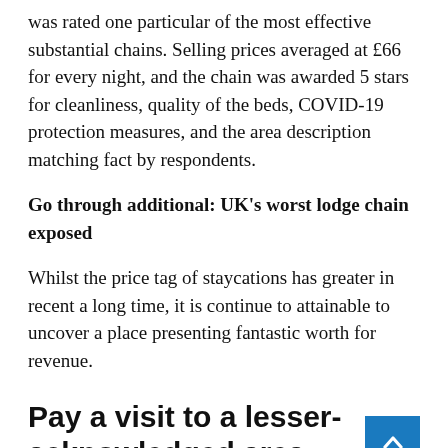was rated one particular of the most effective substantial chains. Selling prices averaged at £66 for every night, and the chain was awarded 5 stars for cleanliness, quality of the beds, COVID-19 protection measures, and the area description matching fact by respondents.
Go through additional: UK's worst lodge chain exposed
Whilst the price tag of staycations has greater in recent a long time, it is continue to attainable to uncover a place presenting fantastic worth for revenue.
Pay a visit to a lesser-acknowledged area